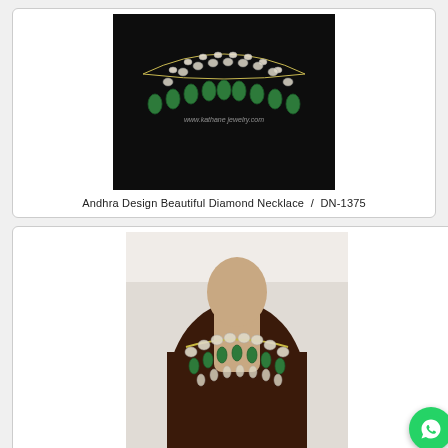[Figure (photo): A diamond necklace with green emerald stones displayed on a dark black surface. Watermark text visible: www.kathanejewerly.com]
Andhra Design Beautiful Diamond Necklace  /  DN-1375
[Figure (photo): A designer diamond necklace with green emerald stones displayed on a dark brown mannequin neck/bust. A WhatsApp icon button is overlaid in the bottom right corner.]
Designer South Indian Diamond Necklace  /  FDNK0265